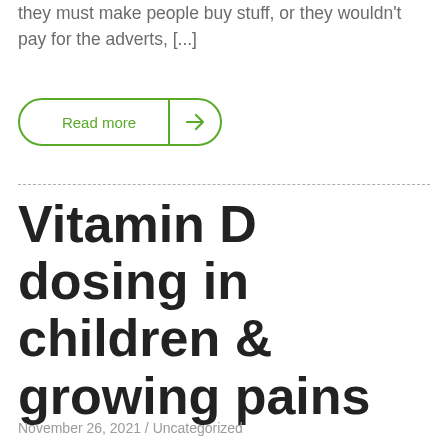they must make people buy stuff, or they wouldn't pay for the adverts, [...]
Read more →
Vitamin D dosing in children & growing pains
November 26, 2021 / Uncategorized